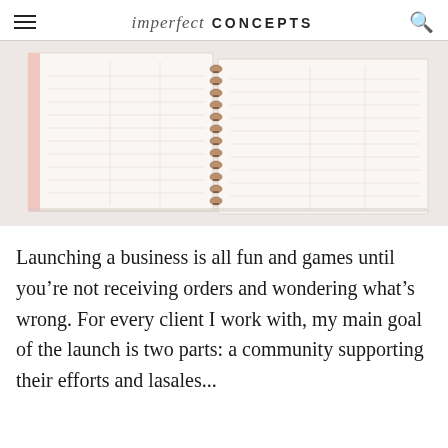imperfect CONCEPTS
[Figure (photo): Open spiral-bound planner/notebook lying flat, showing two pages with lined columns and rose gold spiral binding, on a white background.]
Launching a business is all fun and games until you're not receiving orders and wondering what's wrong. For every client I work with, my main goal of the launch is two parts: a community supporting their efforts and la… sales...